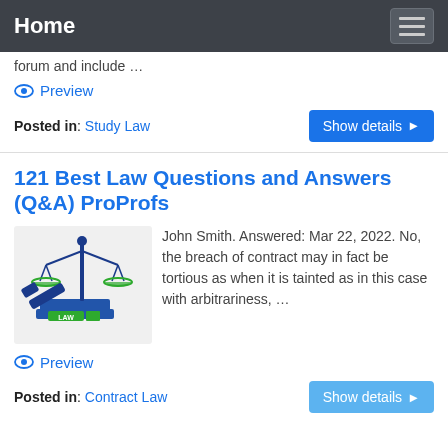Home
forum and include …
Preview
Posted in: Study Law
121 Best Law Questions and Answers (Q&A) ProProfs
[Figure (illustration): Law scales and gavel illustration with books and LAW label]
John Smith. Answered: Mar 22, 2022. No, the breach of contract may in fact be tortious as when it is tainted as in this case with arbitrariness, …
Preview
Posted in: Contract Law